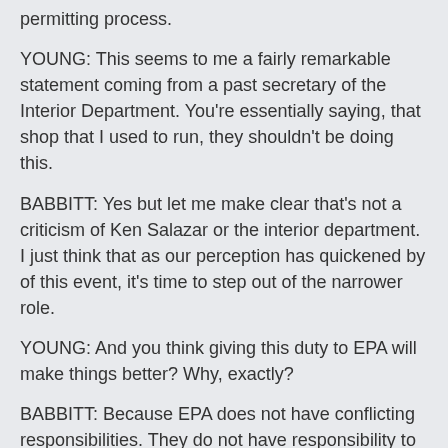permitting process.
YOUNG: This seems to me a fairly remarkable statement coming from a past secretary of the Interior Department. You're essentially saying, that shop that I used to run, they shouldn't be doing this.
BABBITT: Yes but let me make clear that's not a criticism of Ken Salazar or the interior department. I just think that as our perception has quickened by of this event, it's time to step out of the narrower role.
YOUNG: And you think giving this duty to EPA will make things better? Why, exactly?
BABBITT: Because EPA does not have conflicting responsibilities. They do not have responsibility to set up the process of permitting, to collect the revenues to, in effect, be advocating for the industry. EPA's job is pure